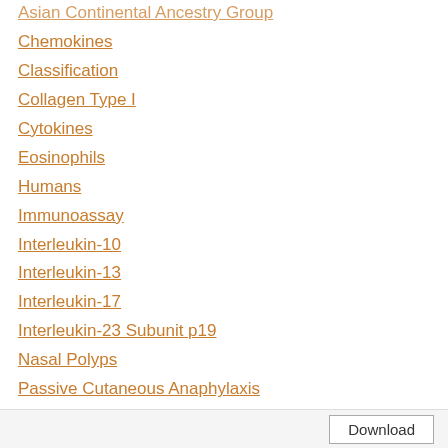Asian Continental Ancestry Group
Chemokines
Classification
Collagen Type I
Cytokines
Eosinophils
Humans
Immunoassay
Interleukin-10
Interleukin-13
Interleukin-17
Interleukin-23 Subunit p19
Nasal Polyps
Passive Cutaneous Anaphylaxis
Principal Component Analysis